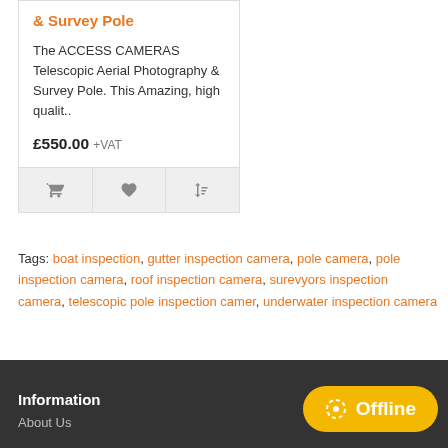& Survey Pole
The ACCESS CAMERAS Telescopic Aerial Photography & Survey Pole. This Amazing, high qualit..
£550.00 +VAT
Tags: boat inspection, gutter inspection camera, pole camera, pole inspection camera, roof inspection camera, surevyors inspection camera, telescopic pole inspection camer, underwater inspection camera
Information
About Us